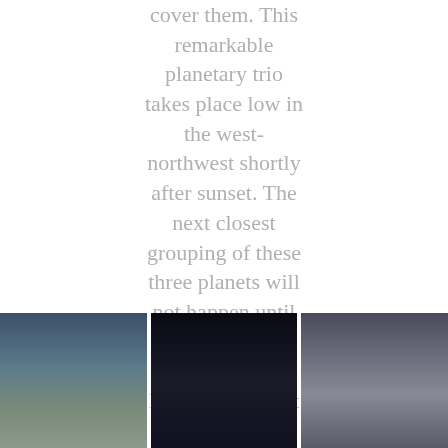cover them. This remarkable planetary trio takes place low in the west-northwest shortly after sunset. The next closest grouping of these three planets will not happen until January 2021." (Photo by Duy Duy Tran/ Credit to Yahoo News)
[Figure (photo): Three side-by-side photos at the bottom of the page. Left: twilight sky with gradient from dark blue to grayish. Middle: very dark night sky, nearly black. Right: cloudy/hazy sky with soft blue-gray tones.]